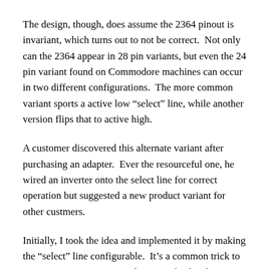The design, though, does assume the 2364 pinout is invariant, which turns out to not be correct.  Not only can the 2364 appear in 28 pin variants, but even the 24 pin variant found on Commodore machines can occur in two different configurations.  The more common variant sports a active low “select” line, while another version flips that to active high.
A customer discovered this alternate variant after purchasing an adapter.  Ever the resourceful one, he wired an inverter onto the select line for correct operation but suggested a new product variant for other custmers.
Initially, I took the idea and implemented it by making the “select” line configurable.  It’s a common trick to use an XOR gate to invert the state of a data line.  Still, the resulting design felt lacking.